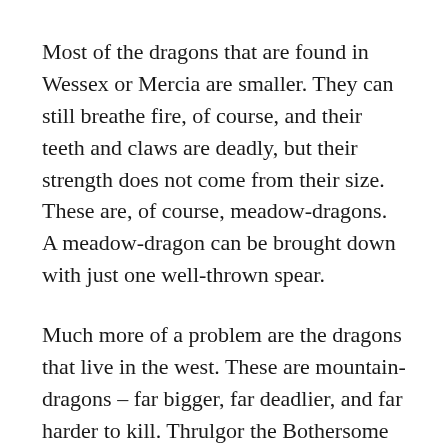Most of the dragons that are found in Wessex or Mercia are smaller. They can still breathe fire, of course, and their teeth and claws are deadly, but their strength does not come from their size. These are, of course, meadow-dragons. A meadow-dragon can be brought down with just one well-thrown spear.
Much more of a problem are the dragons that live in the west. These are mountain-dragons – far bigger, far deadlier, and far harder to kill. Thrulgor the Bothersome was a mountain-dragon – the biggest I've ever heard of (at least, in Albion – I've heard that there are dragons even greater than him beyond the